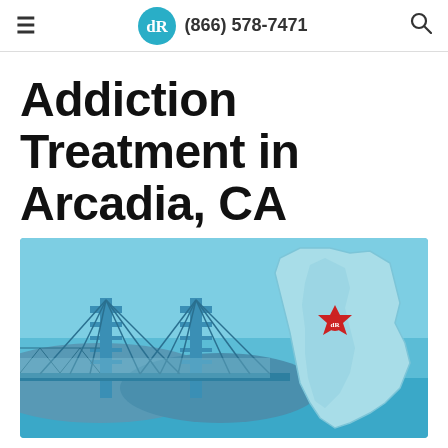≡  (866) 578-7471  🔍
Addiction Treatment in Arcadia, CA
[Figure (illustration): Illustration of the Golden Gate Bridge on the left with a teal/blue color scheme, alongside a map outline of California in light blue with a red star logo marker placed on the state, representing Arcadia CA location.]